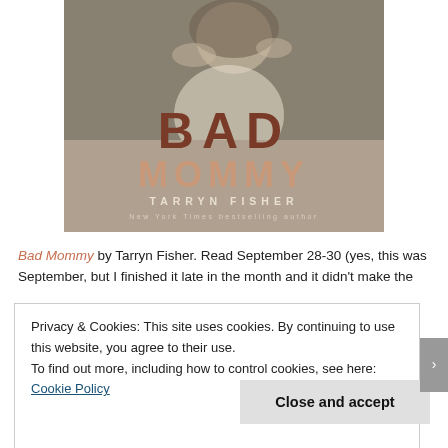[Figure (illustration): Book cover for 'Bad Mommy' by Tarryn Fisher. Black and white photo of a woman with curly hair. Large title text 'BAD' in dark brown/rust, 'MOMMY' in tan/copper color below, 'TARRYN FISHER' in white spaced capitals, and 'New York Times bestselling author' in smaller spaced text.]
Bad Mommy by Tarryn Fisher. Read September 28-30 (yes, this was September, but I finished it late in the month and it didn't make the
Privacy & Cookies: This site uses cookies. By continuing to use this website, you agree to their use.
To find out more, including how to control cookies, see here: Cookie Policy
Close and accept